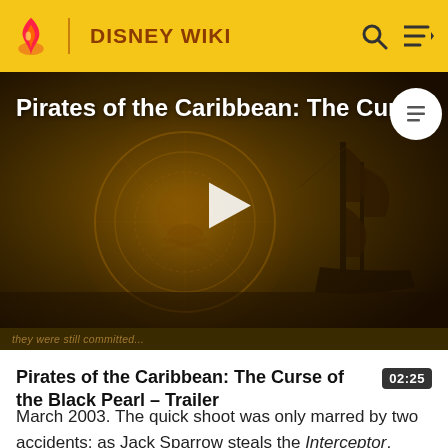DISNEY WIKI
[Figure (screenshot): Video thumbnail for Pirates of the Caribbean: The Curse of the Black Pearl trailer with play button overlay. Dark golden/sepia toned image showing decorative coin/medallion background and ship silhouette on right side.]
Pirates of the Caribbean: The Curse of the Black Pearl - Trailer 02:25
March 2003. The quick shoot was only marred by two accidents: as Jack Sparrow steals the Interceptor, three of the ropes attaching it to the Dauntless did not break at